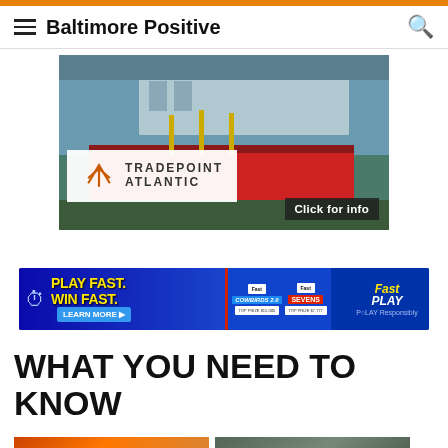Baltimore Positive
[Figure (photo): Aerial photo of a port/industrial waterfront with a large red cargo ship docked. Tradepoint Atlantic logo overlaid on a white box. 'Click for info' button in bottom right.]
[Figure (photo): Maryland Lottery Fast Play advertisement banner. Text reads 'PLAY FAST. WIN FAST.' with 'LEARN MORE' button and Fast Play lottery game images.]
WHAT YOU NEED TO KNOW
[Figure (photo): Two thumbnail images at the bottom of the page showing news article previews.]